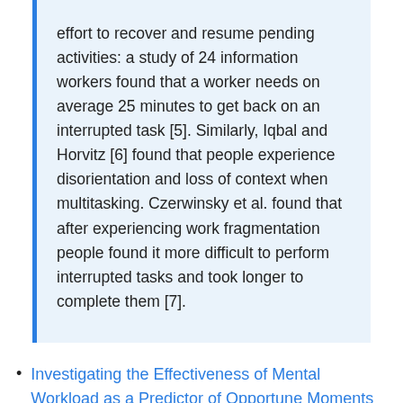effort to recover and resume pending activities: a study of 24 information workers found that a worker needs on average 25 minutes to get back on an interrupted task [5]. Similarly, Iqbal and Horvitz [6] found that people experience disorientation and loss of context when multitasking. Czerwinsky et al. found that after experiencing work fragmentation people found it more difficult to perform interrupted tasks and took longer to complete them [7].
Investigating the Effectiveness of Mental Workload as a Predictor of Opportune Moments for Interruption